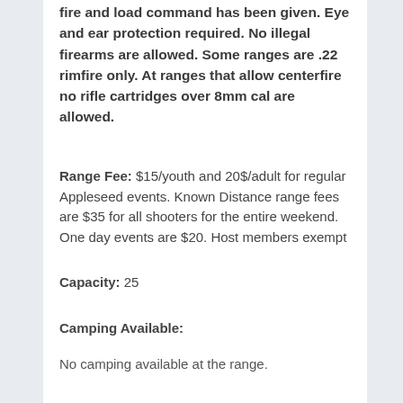fire and load command has been given. Eye and ear protection required. No illegal firearms are allowed. Some ranges are .22 rimfire only. At ranges that allow centerfire no rifle cartridges over 8mm cal are allowed.
Range Fee: $15/youth and 20$/adult for regular Appleseed events. Known Distance range fees are $35 for all shooters for the entire weekend. One day events are $20. Host members exempt
Capacity: 25
Camping Available:
No camping available at the range.
Hotels:
Econo-lodge, Lloyd FL about 15 min. drive. Ask for the Appleseed rate.